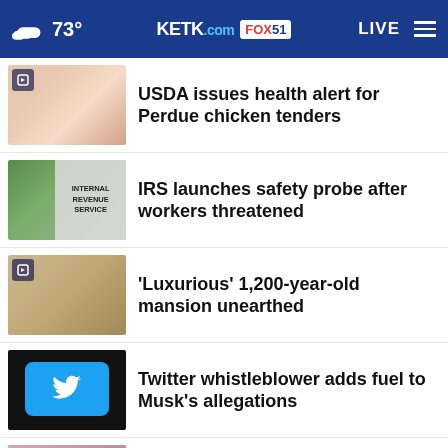73° KETK.com FOX51 LIVE
USDA issues health alert for Perdue chicken tenders
IRS launches safety probe after workers threatened
'Luxurious' 1,200-year-old mansion unearthed
Twitter whistleblower adds fuel to Musk's allegations
Serena Williams tells Meghan of baby's injury before …
It's not too late to take charge of your retirement. Get your top 3 tips →
More